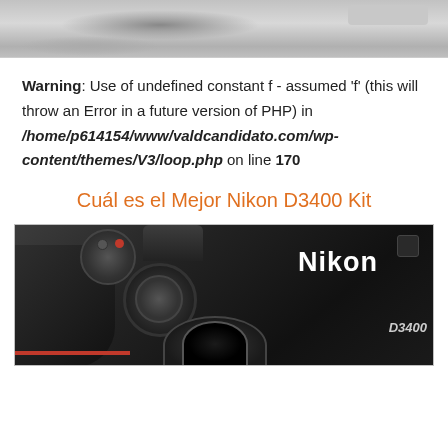[Figure (photo): Partial photo of a camera or device, top strip cropped, shown in grayscale]
Warning: Use of undefined constant f - assumed 'f' (this will throw an Error in a future version of PHP) in /home/p614154/www/valdcandidato.com/wp-content/themes/V3/loop.php on line 170
Cuál es el Mejor Nikon D3400 Kit
[Figure (photo): Photo of a Nikon D3400 DSLR camera body viewed from above, showing the top controls, mode dial, and Nikon branding]